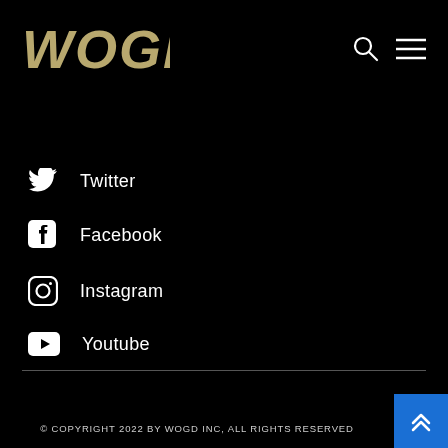WOGD logo with search and menu icons
Twitter
Facebook
Instagram
Youtube
© COPYRIGHT 2022 BY WOGD INC, ALL RIGHTS RESERVED